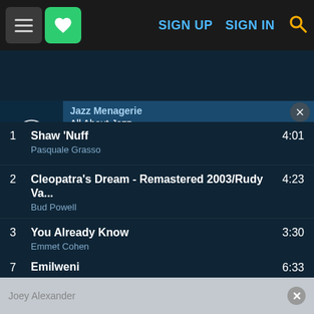[Figure (screenshot): Navigation bar with hamburger menu, green heart button, SIGN UP, SIGN IN links, and search icon]
[Figure (screenshot): Music player bar showing Jazz Menagerie / All About Jazz with playback controls and progress bar]
1  Shaw 'Nuff  4:01
Pasquale Grasso
2  Cleopatra's Dream - Remastered 2003/Rudy Va...  4:23
Bud Powell
3  You Already Know  3:30
Emmet Cohen
4  Quite Place  4:45
Ron Carter, Jack DeJohnette, Gonzalo Rubalcaba
5  Disco Ears  6:21
Joshua Redman, Brad Mehldau, Brian Blade, Chr...
6  Summer Rising  5:56
Joey Alexander
7  Emilweni  6:33